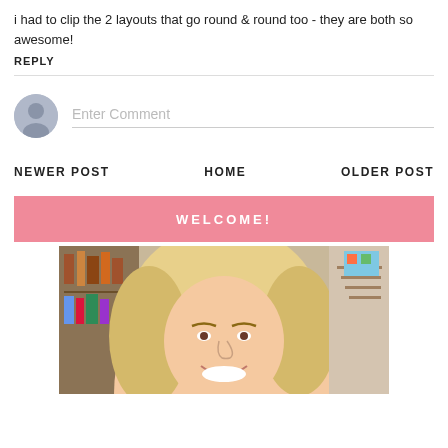i had to clip the 2 layouts that go round & round too - they are both so awesome!
REPLY
[Figure (screenshot): Comment input box with a generic user avatar on the left and 'Enter Comment' placeholder text with a bottom border on the right]
NEWER POST
HOME
OLDER POST
WELCOME!
[Figure (photo): A smiling blonde woman selfie photo in an indoor setting with bookshelves and stairs visible in the background]